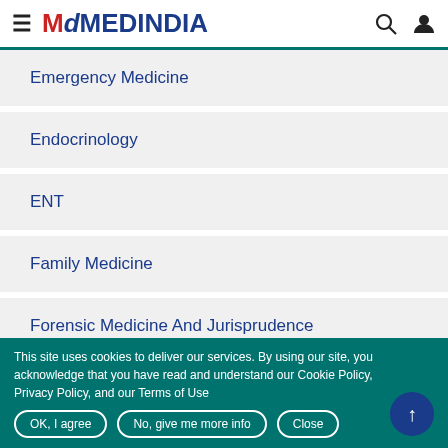MEDINDIA
Emergency Medicine
Endocrinology
ENT
Family Medicine
Forensic Medicine And Jurisprudence
Gastroenterology
This site uses cookies to deliver our services. By using our site, you acknowledge that you have read and understand our Cookie Policy, Privacy Policy, and our Terms of Use
OK, I agree | No, give me more info | Close